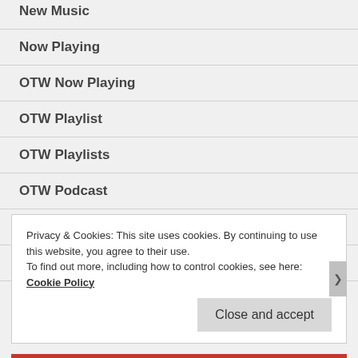New Music
Now Playing
OTW Now Playing
OTW Playlist
OTW Playlists
OTW Podcast
OTW Visuals
Radio Playlist
Privacy & Cookies: This site uses cookies. By continuing to use this website, you agree to their use. To find out more, including how to control cookies, see here: Cookie Policy
Close and accept